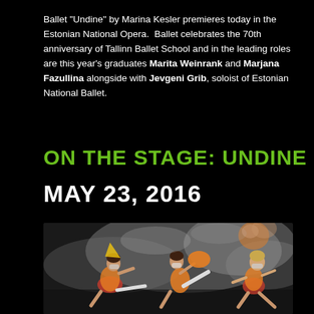Ballet "Undine" by Marina Kesler premieres today in the Estonian National Opera.  Ballet celebrates the 70th anniversary of Tallinn Ballet School and in the leading roles are this year's graduates Marita Weinrank and Marjana Fazullina alongside with Jevgeni Grib, soloist of Estonian National Ballet.
ON THE STAGE: UNDINE
MAY 23, 2016
[Figure (photo): Ballet performance photo showing three female ballet dancers in orange and yellow costumes with masks, surrounded by stage smoke/mist on a dark stage.]